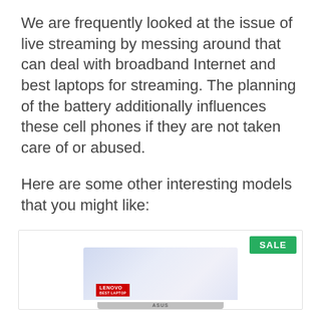We are frequently looked at the issue of live streaming by messing around that can deal with broadband Internet and best laptops for streaming. The planning of the battery additionally influences these cell phones if they are not taken care of or abused.
Here are some other interesting models that you might like:
[Figure (photo): Product card with a SALE badge in green on the top right corner, and a laptop image (appears to be an ASUS laptop with Lenovo branding visible) centered in the lower portion of the card.]